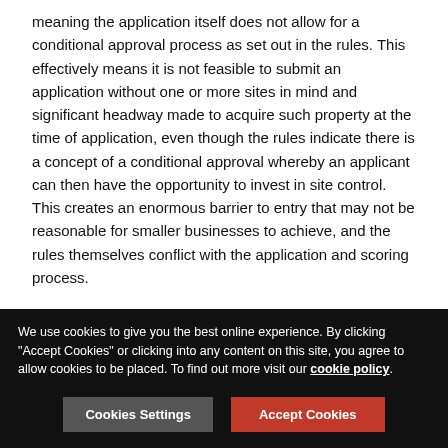meaning the application itself does not allow for a conditional approval process as set out in the rules. This effectively means it is not feasible to submit an application without one or more sites in mind and significant headway made to acquire such property at the time of application, even though the rules indicate there is a concept of a conditional approval whereby an applicant can then have the opportunity to invest in site control. This creates an enormous barrier to entry that may not be reasonable for smaller businesses to achieve, and the rules themselves conflict with the application and scoring process.
Texas also has some of the highest medical cannabis licensing fees in the country. Under Section 12.14, an application fee for a dispensing organization license is $7,356 and the license fee is $488,520 for a two-year period. Upon the
We use cookies to give you the best online experience. By clicking "Accept Cookies" or clicking into any content on this site, you agree to allow cookies to be placed. To find out more visit our cookie policy.